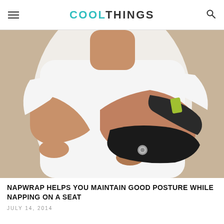COOLTHINGS
[Figure (photo): Woman in white t-shirt with arms crossed, wearing a dark black padded wrap/brace on her right wrist and forearm with a silver snap button, against a light background.]
NAPWRAP HELPS YOU MAINTAIN GOOD POSTURE WHILE NAPPING ON A SEAT
JULY 14, 2014